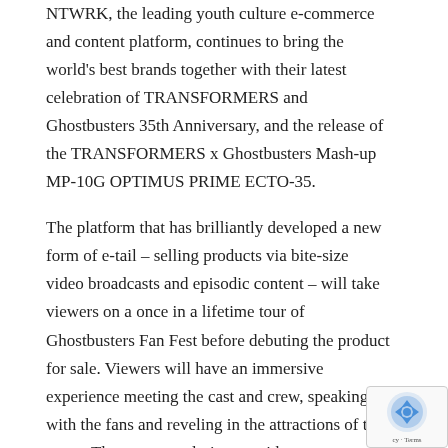NTWRK, the leading youth culture e-commerce and content platform, continues to bring the world's best brands together with their latest celebration of TRANSFORMERS and Ghostbusters 35th Anniversary, and the release of the TRANSFORMERS x Ghostbusters Mash-up MP-10G OPTIMUS PRIME ECTO-35.
The platform that has brilliantly developed a new form of e-tail – selling products via bite-size video broadcasts and episodic content – will take viewers on a once in a lifetime tour of Ghostbusters Fan Fest before debuting the product for sale. Viewers will have an immersive experience meeting the cast and crew, speaking with the fans and reveling in the attractions of the event. The content culminates with a one-on-one interview with Ghostbusters original film actor Ernie Hudson and special appearances and...
[Figure (other): reCAPTCHA logo badge with privacy and terms text]